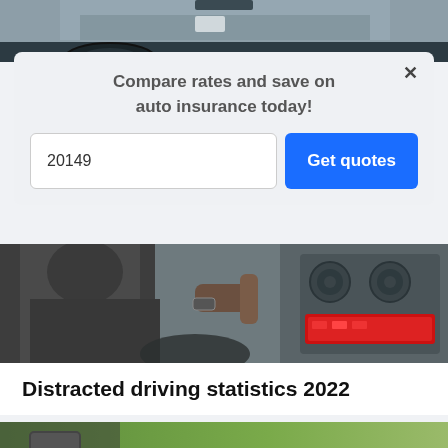[Figure (photo): Top portion of a car interior photo, showing dashboard/windshield view from inside a vehicle]
Compare rates and save on auto insurance today!
20149
Get quotes
[Figure (photo): Person driving a car, view from back seat showing driver's hands on steering wheel and car dashboard with red highlighted radio area]
Distracted driving statistics 2022
[Figure (photo): Driver holding a smartphone while driving, side mirror visible, green trees in background]